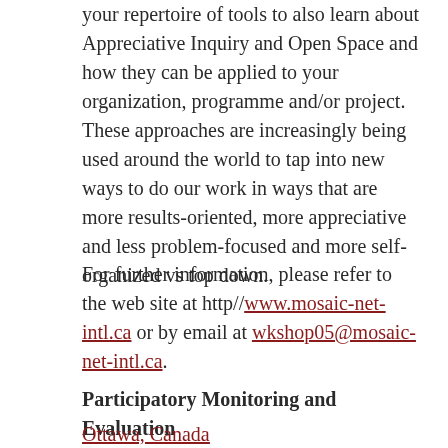your repertoire of tools to also learn about Appreciative Inquiry and Open Space and how they can be applied to your organization, programme and/or project. These approaches are increasingly being used around the world to tap into new ways to do our work in ways that are more results-oriented, more appreciative and less problem-focused and more self-organized vs top down.
For further information, please refer to the web site at http//www.mosaic-net-intl.ca or by email at wkshop05@mosaic-net-intl.ca.
Participatory Monitoring and Evaluation
Ottawa, Canada